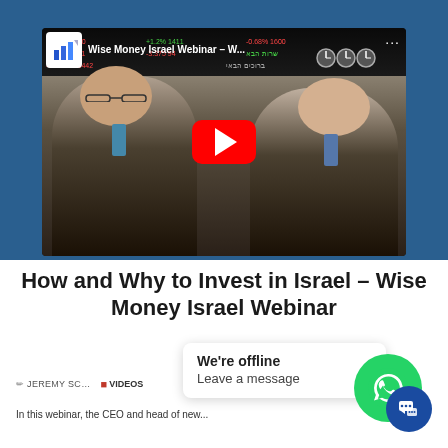[Figure (screenshot): YouTube video thumbnail showing two men in suits sitting in front of a stock exchange ticker board. The video title reads 'Wise Money Israel Webinar - W...' with a red YouTube play button overlay.]
How and Why to Invest in Israel – Wise Money Israel Webinar
JEREMY SC... VIDEOS
In this webinar, the CEO and head of new...
We're offline
Leave a message